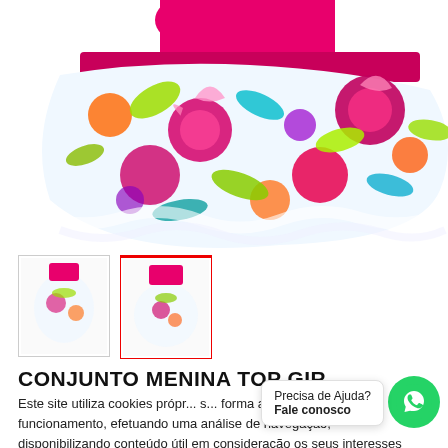[Figure (photo): Product photo of a colorful floral ruffled children's skirt set with pink waistband, featuring a vibrant multicolor floral print with pink, orange, green, and blue flowers on white background. Two thumbnail images are shown below the main image.]
CONJUNTO MENINA TOP GIR...
[Figure (other): WhatsApp chat widget with text 'Precisa de Ajuda? Fale conosco' and green WhatsApp icon button]
Este site utiliza cookies própr... s... forma a garantir o seu bom funcionamento, efetuando uma análise de navegação, disponibilizando conteúdo útil em consideração os seus interesses e personalização de serviços